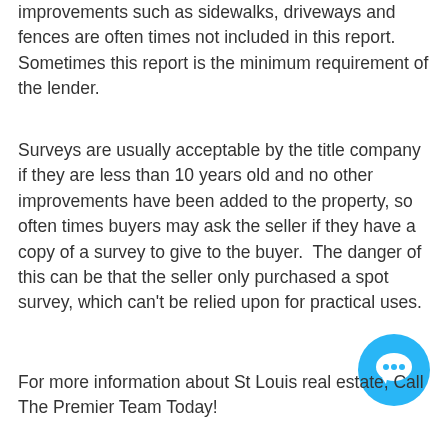improvements such as sidewalks, driveways and fences are often times not included in this report. Sometimes this report is the minimum requirement of the lender.
Surveys are usually acceptable by the title company if they are less than 10 years old and no other improvements have been added to the property, so often times buyers may ask the seller if they have a copy of a survey to give to the buyer. The danger of this can be that the seller only purchased a spot survey, which can't be relied upon for practical uses.
For more information about St Louis real estate, Call The Premier Team Today!